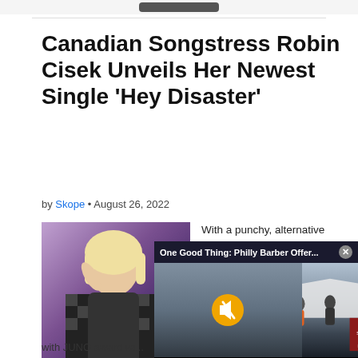Canadian Songstress Robin Cisek Unveils Her Newest Single ‘Hey Disaster’
by Skope • August 26, 2022
[Figure (photo): Photo of Robin Cisek, blonde woman in checkered dress against colorful background]
With a punchy, alternative
[Figure (screenshot): Video overlay popup: One Good Thing: Philly Barber Offer... with muted video player showing outdoor scene with tent and Cuts Serving the People sign]
with JUNO award wi...